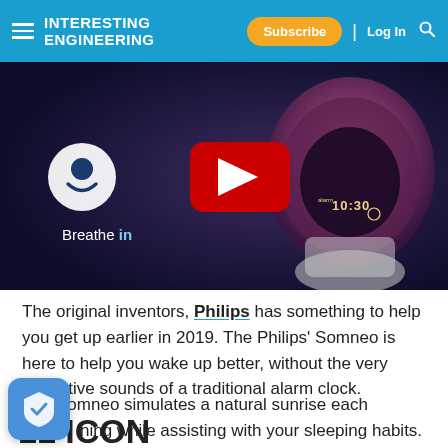Interesting Engineering — Subscribe | Log In
[Figure (screenshot): Video thumbnail showing Philips Somneo alarm clock device with Breathe in text and Headspace logo, YouTube play button overlay, dark background]
The original inventors, Philips has something to help you get up earlier in 2019. The Philips' Somneo is here to help you wake up better, without the very disruptive sounds of a traditional alarm clock.
The Somneo simulates a natural sunrise each morning while assisting with your sleeping habits.